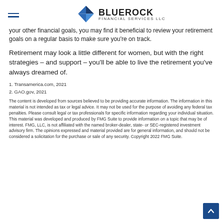BLUEROCK FINANCIAL SERVICES LLC
your other financial goals, you may find it beneficial to review your retirement goals on a regular basis to make sure you’re on track.
Retirement may look a little different for women, but with the right strategies – and support – you’ll be able to live the retirement you’ve always dreamed of.
1. Transamerica.com, 2021
2. GAO.gov, 2021
The content is developed from sources believed to be providing accurate information. The information in this material is not intended as tax or legal advice. It may not be used for the purpose of avoiding any federal tax penalties. Please consult legal or tax professionals for specific information regarding your individual situation. This material was developed and produced by FMG Suite to provide information on a topic that may be of interest. FMG, LLC, is not affiliated with the named broker-dealer, state- or SEC-registered investment advisory firm. The opinions expressed and material provided are for general information, and should not be considered a solicitation for the purchase or sale of any security. Copyright 2022 FMG Suite.